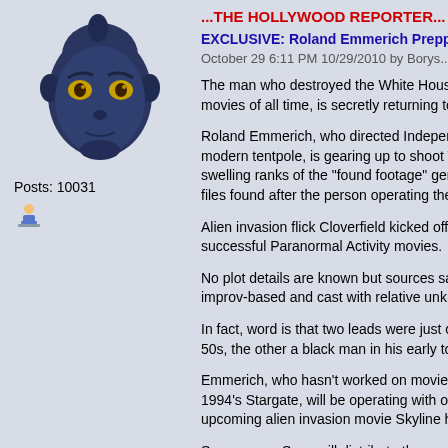[Figure (illustration): Forum user avatar: blue alien/creature face with yellow eyes, dark blue skin]
Posts: 10031
[Figure (illustration): Small user icon showing a person at a desk]
...THE HOLLYWOOD REPORTER...
EXCLUSIVE: Roland Emmerich Prepping... October 29 6:11 PM 10/29/2010 by Borys...
The man who destroyed the White House... movies of all time, is secretly returning to...
Roland Emmerich, who directed Independ... modern tentpole, is gearing up to shoot T... swelling ranks of the "found footage" genr... files found after the person operating the c...
Alien invasion flick Cloverfield kicked off t... successful Paranormal Activity movies.
No plot details are known but sources say... improv-based and cast with relative unkno...
In fact, word is that two leads were just ca... 50s, the other a black man in his early to...
Emmerich, who hasn't worked on movie w... 1994's Stargate, will be operating with onl... upcoming alien invasion movie Skyline ha...
Sources say Sony will distribute the...